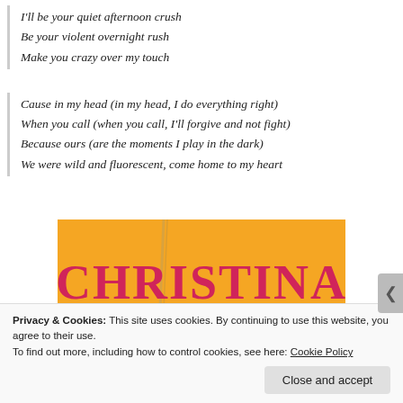I'll be your quiet afternoon crush
Be your violent overnight rush
Make you crazy over my touch
Cause in my head (in my head, I do everything right)
When you call (when you call, I'll forgive and not fight)
Because ours (are the moments I play in the dark)
We were wild and fluorescent, come home to my heart
[Figure (photo): Book cover by Christina Lauren on orange background with large red serif text reading CHRISTINA LAUREN]
Privacy & Cookies: This site uses cookies. By continuing to use this website, you agree to their use.
To find out more, including how to control cookies, see here: Cookie Policy